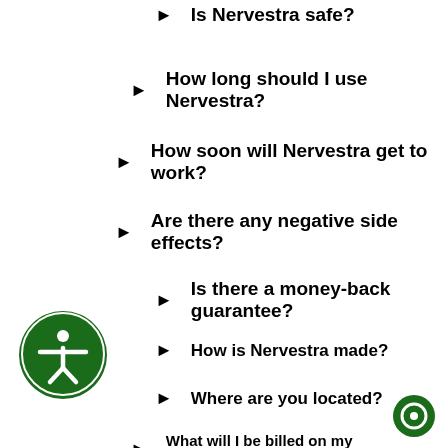Is Nervestra safe?
How long should I use Nervestra?
How soon will Nervestra get to work?
Are there any negative side effects?
Is there a money-back guarantee?
How is Nervestra made?
Where are you located?
What will I be billed on my statement?
[Figure (logo): Green circular accessibility icon with person figure inside]
[Figure (logo): Small green circular chat/message icon bottom right]